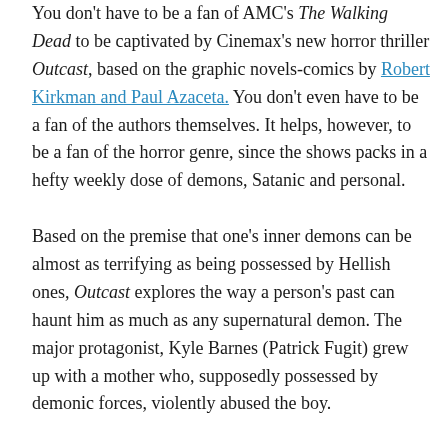You don't have to be a fan of AMC's The Walking Dead to be captivated by Cinemax's new horror thriller Outcast, based on the graphic novels-comics by Robert Kirkman and Paul Azaceta. You don't even have to be a fan of the authors themselves. It helps, however, to be a fan of the horror genre, since the shows packs in a hefty weekly dose of demons, Satanic and personal.

Based on the premise that one's inner demons can be almost as terrifying as being possessed by Hellish ones, Outcast explores the way a person's past can haunt him as much as any supernatural demon. The major protagonist, Kyle Barnes (Patrick Fugit) grew up with a mother who, supposedly possessed by demonic forces, violently abused the boy.